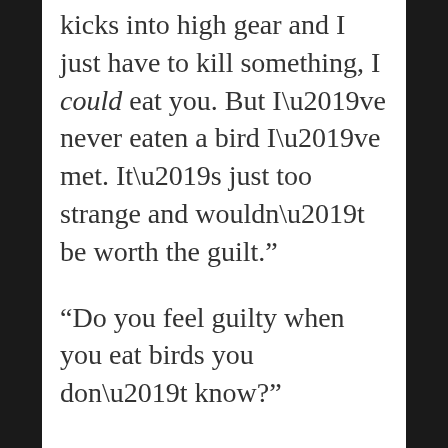kicks into high gear and I just have to kill something, I could eat you. But I’ve never eaten a bird I’ve met. It’s just too strange and wouldn’t be worth the guilt.”
“Do you feel guilty when you eat birds you don’t know?”
“Of course not.”
“What if one said, ‘Wait, my name is Cecil, I got lost from my flock, please don’t eat me?”
Lily narrowed her eyes. “That’s a very specific hypothetical situation.”